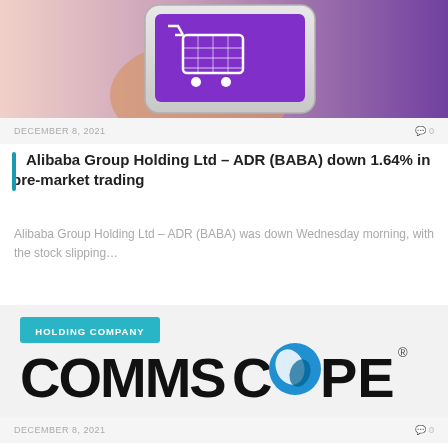[Figure (photo): Hand holding a smartphone with a shopping cart icon on a purple screen]
DECEMBER 8, 2021   💬 0
Alibaba Group Holding Ltd – ADR (BABA) down 1.64% in pre-market trading
Alibaba Group Holding Ltd – ADR (BABA) was down Wednesday morning, with the stock slipping…
[Figure (logo): CommScope logo with teal 'HOLDING COMPANY' badge and large COMMSCOPE® wordmark with blue sphere in the O]
DECEMBER 8, 2021   💬 0
Jefferies Financial Group analysts lower earnings estimates for CommScope Holding Company, Inc. (NASDAQ: COMM)